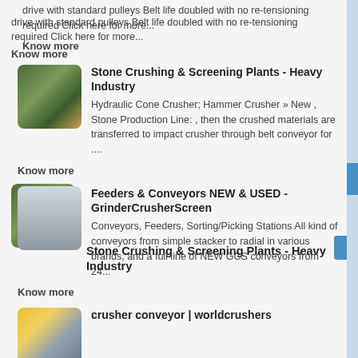drive with standard pulleys Belt life doubled with no re-tensioning required Click here for more...
Know more
[Figure (photo): Thumbnail image of stone crushing/grinding sparks]
Stone Crushing & Screening Plants - Heavy Industry
Hydraulic Cone Crusher; Hammer Crusher » New , Stone Production Line: , then the crushed materials are transferred to impact crusher through belt conveyor for ....
Know more
[Figure (photo): Thumbnail image of feeders/conveyor equipment]
Feeders & Conveyors NEW & USED - GrinderCrusherScreen
Conveyors, Feeders, Sorting/Picking Stations All kind of conveyors from simple stacker to radial in various brands, and a full line of NEW GCS conveyors from 24...
Know more
[Figure (photo): Thumbnail image of crusher/conveyor equipment]
crusher conveyor | worldcrushers